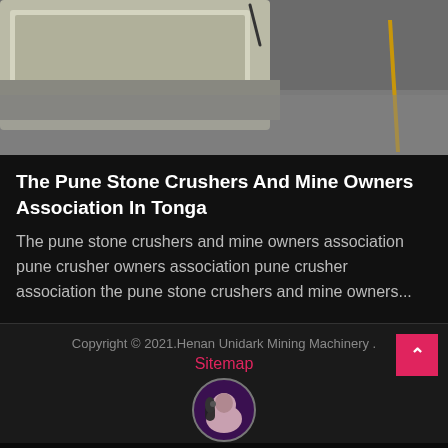[Figure (photo): Industrial machinery on a concrete floor with a yellow painted line visible in the background]
The Pune Stone Crushers And Mine Owners Association In Tonga
The pune stone crushers and mine owners association pune crusher owners association pune crusher association the pune stone crushers and mine owners...
Copyright © 2021.Henan Unidark Mining Machinery . Sitemap
Leave Message
Chat Online